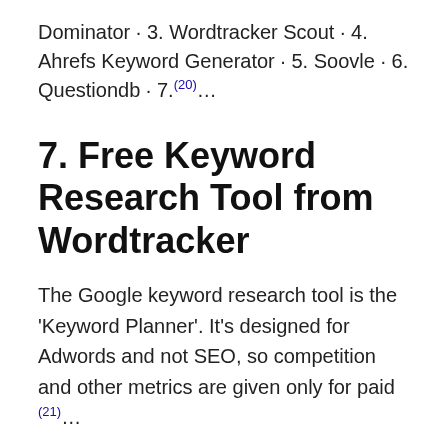Dominator · 3. Wordtracker Scout · 4. Ahrefs Keyword Generator · 5. Soovle · 6. Questiondb · 7.(20)...
7. Free Keyword Research Tool from Wordtracker
The Google keyword research tool is the 'Keyword Planner'. It's designed for Adwords and not SEO, so competition and other metrics are given only for paid (21)...